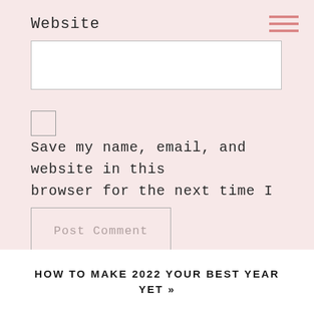Website
[Figure (other): Hamburger menu icon — three short horizontal pink lines stacked]
Save my name, email, and website in this browser for the next time I comment.
Post Comment
HOW TO MAKE 2022 YOUR BEST YEAR YET »